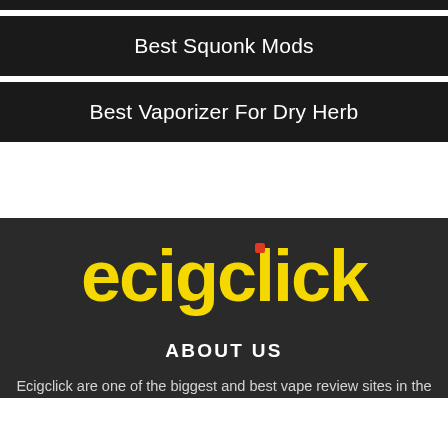Best Squonk Mods
Best Vaporizer For Dry Herb
[Figure (logo): ecigclick logo in bold yellow text on dark background with a small red square dot above the letter i]
ABOUT US
Ecigclick are one of the biggest and best vape review sites in the